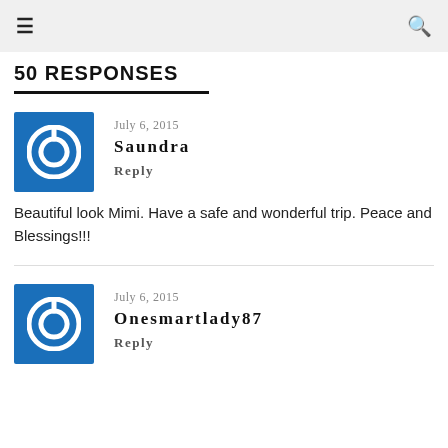☰  🔍
50 RESPONSES
July 6, 2015
Saundra
Reply
Beautiful look Mimi. Have a safe and wonderful trip. Peace and Blessings!!!
July 6, 2015
Onesmartlady87
Reply